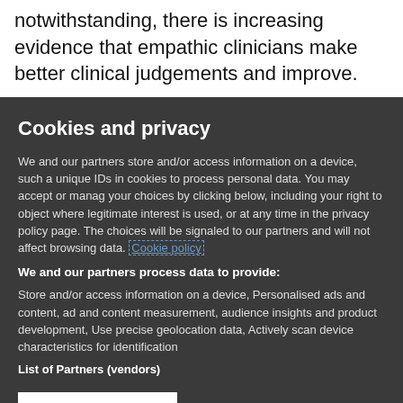notwithstanding, there is increasing evidence that empathic clinicians make better clinical judgements and improve.
Cookies and privacy
We and our partners store and/or access information on a device, such as unique IDs in cookies to process personal data. You may accept or manage your choices by clicking below, including your right to object where legitimate interest is used, or at any time in the privacy policy page. These choices will be signaled to our partners and will not affect browsing data. Cookie policy
We and our partners process data to provide:
Store and/or access information on a device, Personalised ads and content, ad and content measurement, audience insights and product development, Use precise geolocation data, Actively scan device characteristics for identification
List of Partners (vendors)
I Accept